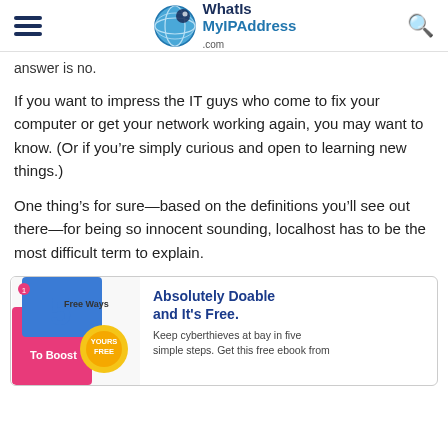WhatIsMyIPAddress.com
answer is no.
If you want to impress the IT guys who come to fix your computer or get your network working again, you may want to know. (Or if you’re simply curious and open to learning new things.)
One thing’s for sure—based on the definitions you’ll see out there—for being so innocent sounding, localhost has to be the most difficult term to explain.
[Figure (infographic): Advertisement showing '5 Free Ways To Boost' ebook with 'Yours Free' sticker and text 'Absolutely Doable and It’s Free. Keep cyberthieves at bay in five simple steps. Get this free ebook from']